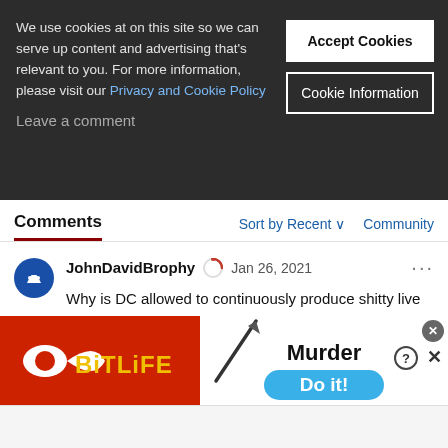We use cookies at on this site so we can serve up content and advertising that's relevant to you. For more information, please visit our Privacy and Cookie Policy
Leave a comment
Accept Cookies
Cookie Information
Comments
Sort by Recent ∨
Community
JohnDavidBrophy   Jan 26, 2021   ...
Why is DC allowed to continuously produce shitty live action tv shows that remain on air for several seasons? I mean the track record is there folks. They seem to all start out strong, but by the end of season
[Figure (screenshot): BitLife advertisement banner with red background on left showing BitLife logo (white sperm cell shape and text 'BitLiFE' in yellow), and white section on right with 'Murder' text and 'Do it!' blue pill-shaped button, with close/help buttons in top right corner]